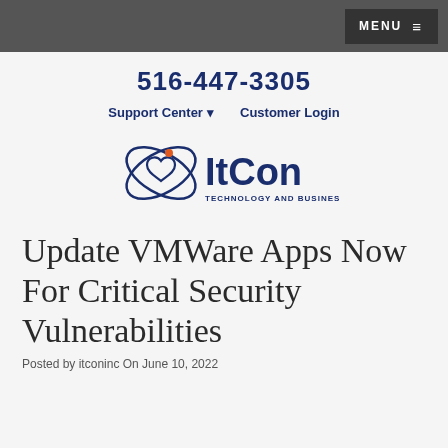MENU
516-447-3305
Support Center ▾   Customer Login
[Figure (logo): ItCon logo with orbital heart symbol and text 'TECHNOLOGY AND BUSINESS TOGETHER']
Update VMWare Apps Now For Critical Security Vulnerabilities
Posted by itconinc On June 10, 2022